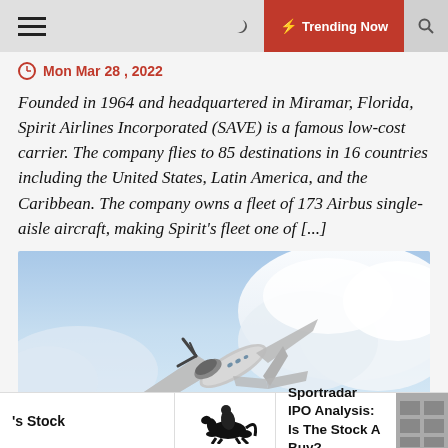≡  🌙  ⚡ Trending Now  🔍
Mon Mar 28 , 2022
Founded in 1964 and headquartered in Miramar, Florida, Spirit Airlines Incorporated (SAVE) is a famous low-cost carrier. The company flies to 85 destinations in 16 countries including the United States, Latin America, and the Caribbean. The company owns a fleet of 173 Airbus single-aisle aircraft, making Spirit's fleet one of [...]
[Figure (photo): An aircraft (airplane) photographed from below against a cloudy sky background]
's Stock  |  Sportradar IPO Analysis: Is The Stock A Buy?